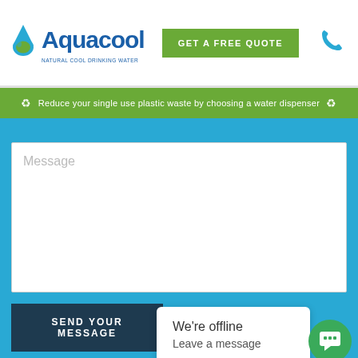[Figure (logo): Aquacool Natural Cool Drinking Water logo with water drop icon]
GET A FREE QUOTE
[Figure (illustration): Phone handset icon in light blue]
♻ Reduce your single use plastic waste by choosing a water dispenser ♻
Message
SEND YOUR MESSAGE
We're offline
Leave a message